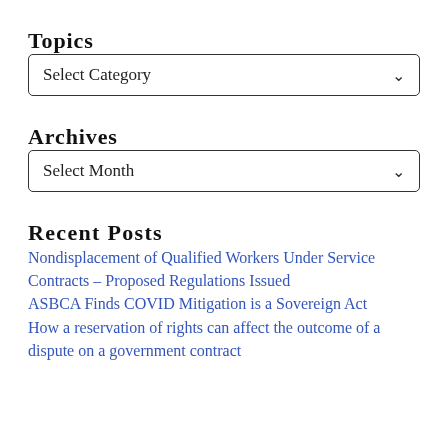Topics
Select Category
Archives
Select Month
Recent Posts
Nondisplacement of Qualified Workers Under Service Contracts – Proposed Regulations Issued
ASBCA Finds COVID Mitigation is a Sovereign Act
How a reservation of rights can affect the outcome of a dispute on a government contract